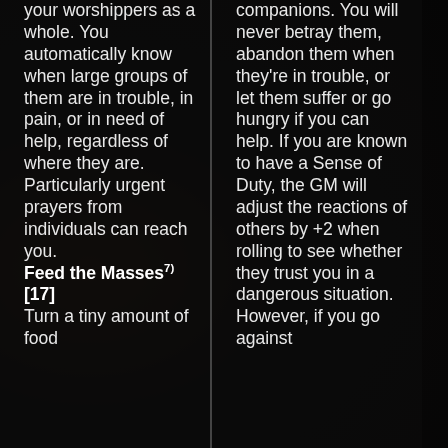your worshippers as a whole. You automatically know when large groups of them are in trouble, in pain, or in need of help, regardless of where they are. Particularly urgent prayers from individuals can reach you.
Feed the Masses7) [17]
Turn a tiny amount of food
companions. You will never betray them, abandon them when they're in trouble, or let them suffer or go hungry if you can help. If you are known to have a Sense of Duty, the GM will adjust the reactions of others by +2 when rolling to see whether they trust you in a dangerous situation. However, if you go against